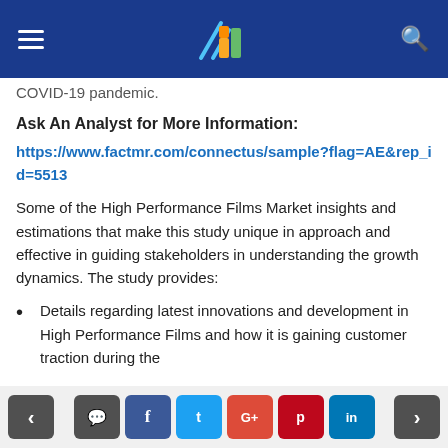Navigation bar with hamburger menu, logo, and search icon
COVID-19 pandemic.
Ask An Analyst for More Information:
https://www.factmr.com/connectus/sample?flag=AE&rep_id=5513
Some of the High Performance Films Market insights and estimations that make this study unique in approach and effective in guiding stakeholders in understanding the growth dynamics. The study provides:
Details regarding latest innovations and development in High Performance Films and how it is gaining customer traction during the
Navigation: prev, comment, facebook, twitter, google+, pinterest, linkedin, next